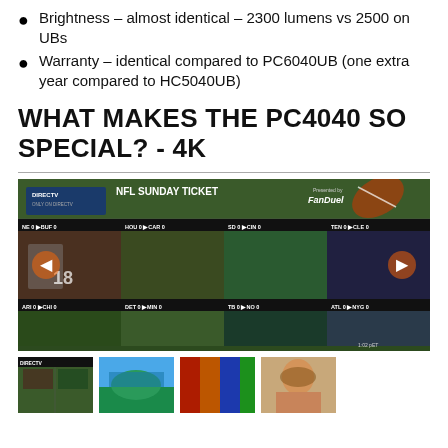Brightness – almost identical – 2300 lumens vs 2500 on UBs
Warranty – identical compared to PC6040UB (one extra year compared to HC5040UB)
WHAT MAKES THE PC4040 SO SPECIAL? - 4K
[Figure (photo): Screenshot of DirecTV NFL Sunday Ticket interface showing multiple football game feeds in a grid layout, with FanDuel branding. Shows game matchups including NE vs BUF, HOU vs CAR, SD vs CIN, TEN vs CLE, ARI vs CHI, DET vs MIN, TB vs NO, ATL vs NYG.]
[Figure (photo): Four thumbnail images below the main NFL Sunday Ticket screenshot: football game, tropical beach scene, colorful balloons/fabric, and a woman's portrait.]